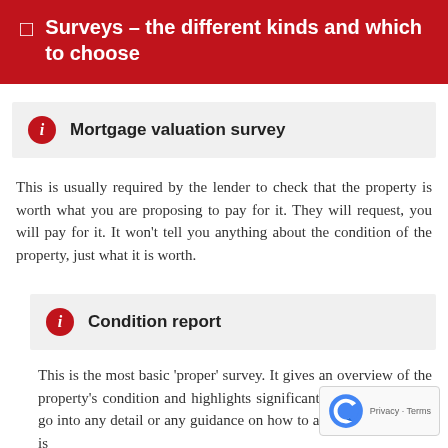Surveys – the different kinds and which to choose
Mortgage valuation survey
This is usually required by the lender to check that the property is worth what you are proposing to pay for it. They will request, you will pay for it. It won't tell you anything about the condition of the property, just what it is worth.
Condition report
This is the most basic 'proper' survey. It gives an overview of the property's condition and highlights significant issues but doesn't go into any detail or any guidance on how to address issues. This is